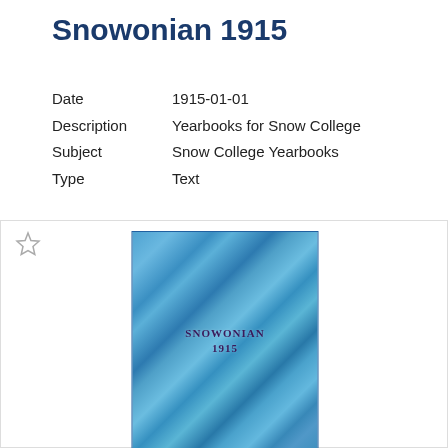Snowonian 1915
Date	1915-01-01
Description	Yearbooks for Snow College
Subject	Snow College Yearbooks
Type	Text
[Figure (photo): Blue textured cover of the Snowonian 1915 yearbook for Snow College, with text reading SNOWONIAN 1915 embossed on the cover.]